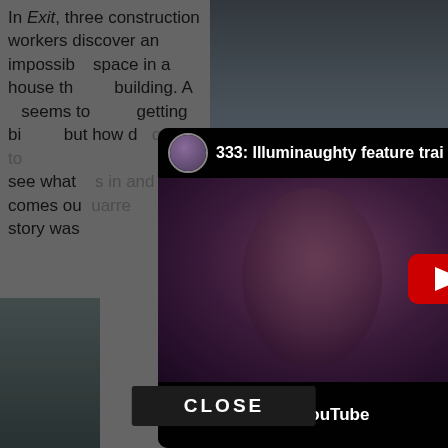In Exit, three construction workers discover an impossible space in a house they're building. As it seems to keep getting bigger, but how do they use this anomaly to see what goes in and comes out – a bizarre story was...
The feat
d by arding p Brunner, this film really rocked my
[Figure (screenshot): YouTube video embed modal overlay showing '333: Illuminaughty feature trai' with a person's face visible in dark lighting, a red YouTube play button, and a 'Watch on YouTube' bar at the bottom]
CLOSE